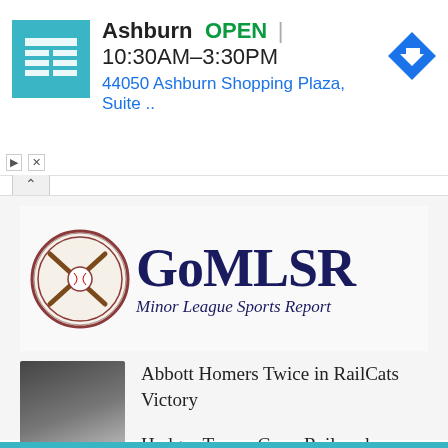[Figure (screenshot): Ad banner for a store in Ashburn showing open hours and address]
Ashburn  OPEN  |  10:30AM–3:30PM
44050 Ashburn Shopping Plaza, Suite ..
[Figure (logo): GoMLSR Minor League Sports Report logo with baseball emblem]
Abbott Homers Twice in RailCats Victory
Hedges Tosses Gem, Railroaders, RailCats Rally, Cougars Crush Saltdogs